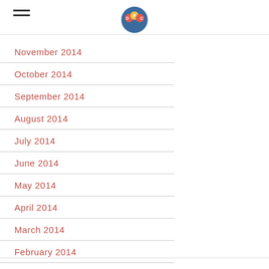DPC [logo]
November 2014
October 2014
September 2014
August 2014
July 2014
June 2014
May 2014
April 2014
March 2014
February 2014
January 2014
December 2013
November 2013
October 2013